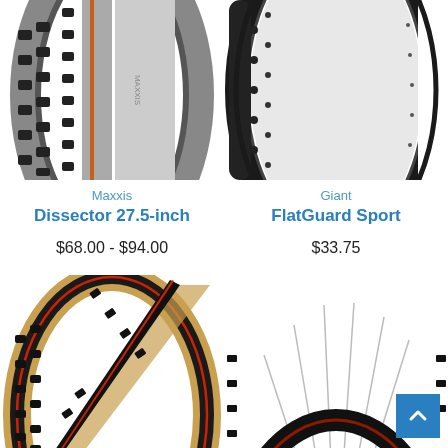[Figure (photo): Maxxis Dissector 27.5-inch mountain bike tire with aggressive knobby tread pattern, dark grey/black coloring]
[Figure (photo): Giant FlatGuard Sport road/touring bike tire with smooth tread and subtle tread pattern, black coloring]
Maxxis
Dissector 27.5-inch
Giant
FlatGuard Sport
$68.00 - $94.00
$33.75
[Figure (photo): Cyclocross/gravel bike tire with tan/brown sidewall and black tread]
[Figure (photo): Cyclocross bike tire mounted on wheel with spokes visible]